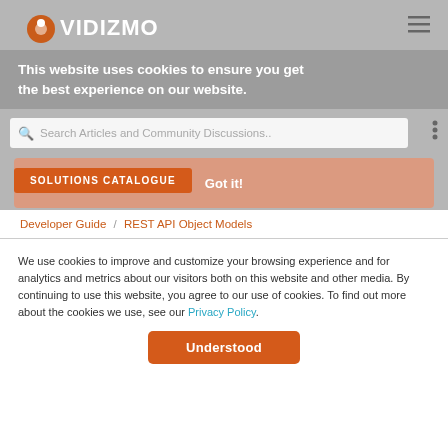OVIDIZMO
This website uses cookies to ensure you get the best experience on our website.
Search Articles and Community Discussions..
Got it!
SOLUTIONS CATALOGUE
Developer Guide / REST API Object Models
API Reference Guide - MashupInfo Object
We use cookies to improve and customize your browsing experience and for analytics and metrics about our visitors both on this website and other media. By continuing to use this website, you agree to our use of cookies. To find out more about the cookies we use, see our Privacy Policy.
Understood